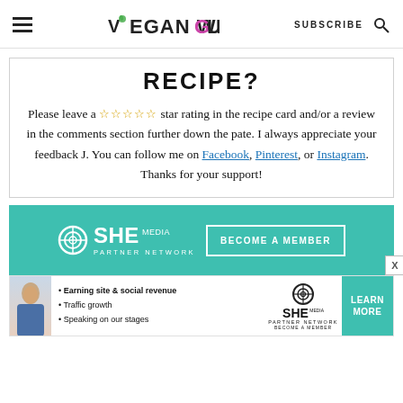Vegan With Gusto | SUBSCRIBE
RECIPE?
Please leave a ☆☆☆☆☆ star rating in the recipe card and/or a review in the comments section further down the pate. I always appreciate your feedback J. You can follow me on Facebook, Pinterest, or Instagram. Thanks for your support!
[Figure (other): SHE Media Partner Network advertisement banner with teal background, circle logo, and 'BECOME A MEMBER' button]
[Figure (other): SHE Media Partner Network bottom advertisement banner with bullet points: Earning site & social revenue, Traffic growth, Speaking on our stages, with LEARN MORE button]